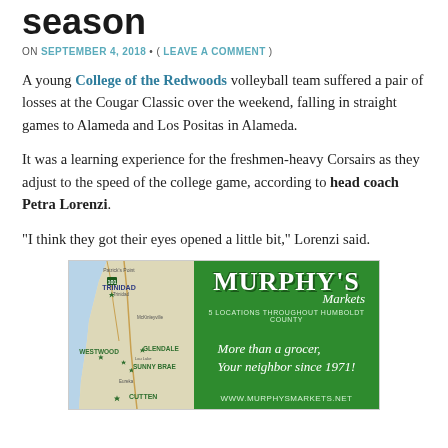season
ON SEPTEMBER 4, 2018 • ( LEAVE A COMMENT )
A young College of the Redwoods volleyball team suffered a pair of losses at the Cougar Classic over the weekend, falling in straight games to Alameda and Los Positas in Alameda.
It was a learning experience for the freshmen-heavy Corsairs as they adjust to the speed of the college game, according to head coach Petra Lorenzi.
“I think they got their eyes opened a little bit,” Lorenzi said.
[Figure (infographic): Murphy's Markets advertisement showing a map of Humboldt County locations on the left side and green background with logo, '5 LOCATIONS THROUGHOUT HUMBOLDT COUNTY', 'More than a grocer, Your neighbor since 1971!' slogan, and www.murphysmarkets.net on the right side.]